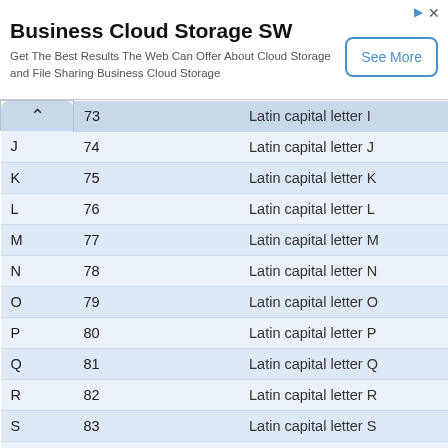[Figure (other): Advertisement banner for Business Cloud Storage SW with 'See More' button and ad icons]
| Char | Dec | Hex | Description |
| --- | --- | --- | --- |
| I | 73 |  | Latin capital letter I |
| J | 74 |  | Latin capital letter J |
| K | 75 |  | Latin capital letter K |
| L | 76 |  | Latin capital letter L |
| M | 77 |  | Latin capital letter M |
| N | 78 |  | Latin capital letter N |
| O | 79 |  | Latin capital letter O |
| P | 80 |  | Latin capital letter P |
| Q | 81 |  | Latin capital letter Q |
| R | 82 |  | Latin capital letter R |
| S | 83 |  | Latin capital letter S |
| T |  |  | Latin capital letter ... |